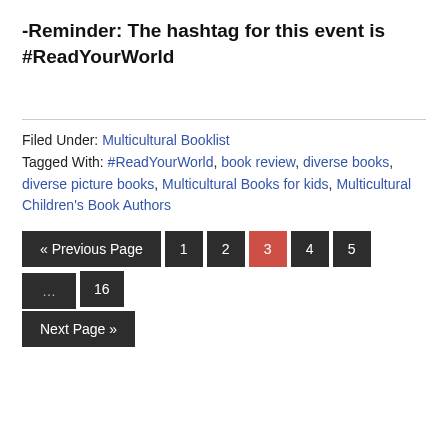-Reminder: The hashtag for this event is #ReadYourWorld
Filed Under: Multicultural Booklist
Tagged With: #ReadYourWorld, book review, diverse books, diverse picture books, Multicultural Books for kids, Multicultural Children's Book Authors
« Previous Page  1  2  3  4  5  ...  16  Next Page »